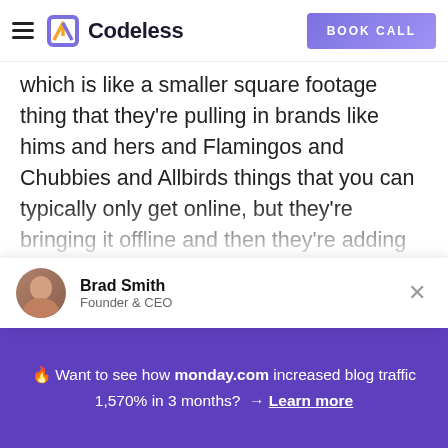Codeless | BOOK CALL
which is like a smaller square footage thing that they're pulling in brands like hims and hers and Flamingos and Chubbies and Allbirds things that you can typically only get online, but they're bringing it offline and then they're adding in. I'm like, you know, weekly or nightly community events where they're bringing in entrepreneurs to talk about starting
Brad Smith
Founder & CEO
🔥 Want to see how monday.com increased blog traffic 1,570% in 3 months? → Learn more